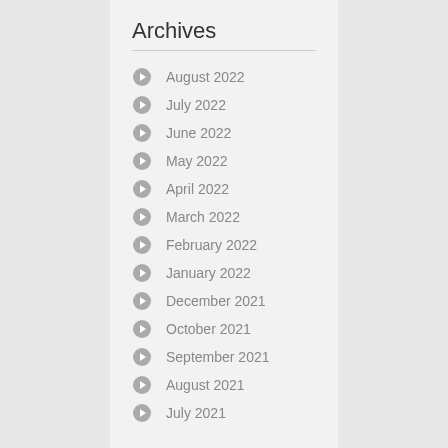Archives
August 2022
July 2022
June 2022
May 2022
April 2022
March 2022
February 2022
January 2022
December 2021
October 2021
September 2021
August 2021
July 2021